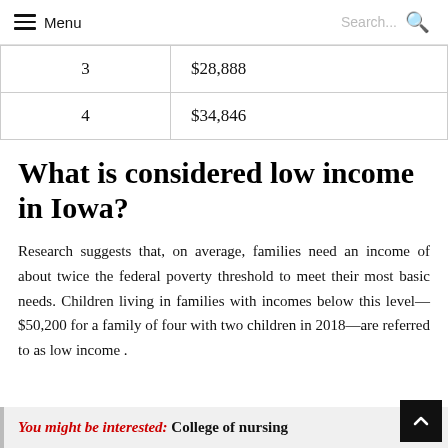Menu  Search...
| 3 | $28,888 |
| 4 | $34,846 |
What is considered low income in Iowa?
Research suggests that, on average, families need an income of about twice the federal poverty threshold to meet their most basic needs. Children living in families with incomes below this level—$50,200 for a family of four with two children in 2018—are referred to as low income .
You might be interested:  College of nursing